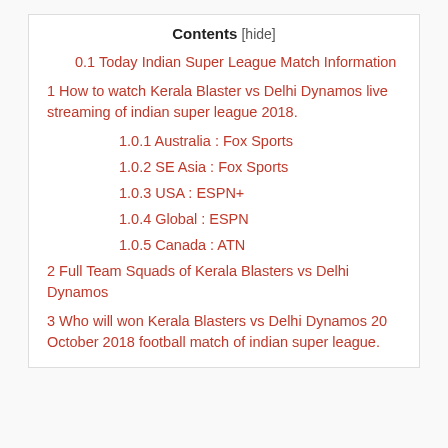Contents [hide]
0.1 Today Indian Super League Match Information
1 How to watch Kerala Blaster vs Delhi Dynamos live streaming of indian super league 2018.
1.0.1 Australia : Fox Sports
1.0.2 SE Asia : Fox Sports
1.0.3 USA : ESPN+
1.0.4 Global : ESPN
1.0.5 Canada : ATN
2 Full Team Squads of Kerala Blasters vs Delhi Dynamos
3 Who will won Kerala Blasters vs Delhi Dynamos 20 October 2018 football match of indian super league.